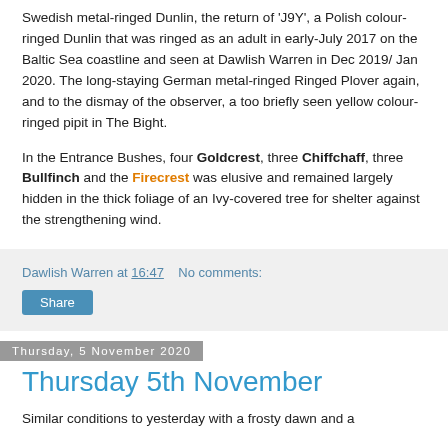Swedish metal-ringed Dunlin, the return of 'J9Y', a Polish colour-ringed Dunlin that was ringed as an adult in early-July 2017 on the Baltic Sea coastline and seen at Dawlish Warren in Dec 2019/ Jan 2020. The long-staying German metal-ringed Ringed Plover again, and to the dismay of the observer, a too briefly seen yellow colour-ringed pipit in The Bight.
In the Entrance Bushes, four Goldcrest, three Chiffchaff, three Bullfinch and the Firecrest was elusive and remained largely hidden in the thick foliage of an Ivy-covered tree for shelter against the strengthening wind.
Dawlish Warren at 16:47   No comments:
Share
Thursday, 5 November 2020
Thursday 5th November
Similar conditions to yesterday with a frosty dawn and a